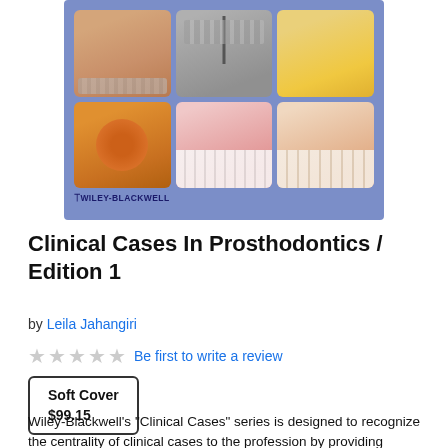[Figure (photo): Book cover of Clinical Cases In Prosthodontics showing a blue/purple cover with 6 dental clinical photos arranged in a 2x3 grid, with Wiley-Blackwell logo at bottom left]
Clinical Cases In Prosthodontics / Edition 1
by Leila Jahangiri
Be first to write a review
Soft Cover $99.15
Wiley-Blackwell's "Clinical Cases" series is designed to recognize the centrality of clinical cases to the profession by providing